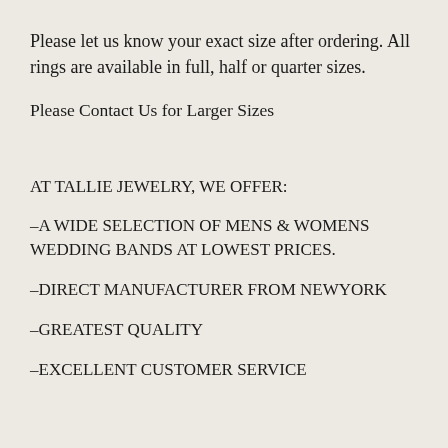Please let us know your exact size after ordering. All rings are available in full, half or quarter sizes.
Please Contact Us for Larger Sizes
AT TALLIE JEWELRY, WE OFFER:
–A WIDE SELECTION OF MENS & WOMENS WEDDING BANDS AT LOWEST PRICES.
–DIRECT MANUFACTURER FROM NEWYORK
–GREATEST QUALITY
–EXCELLENT CUSTOMER SERVICE